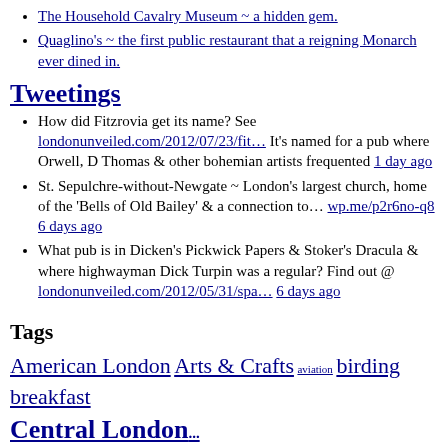The Household Cavalry Museum ~ a hidden gem.
Quaglino's ~ the first public restaurant that a reigning Monarch ever dined in.
Tweetings
How did Fitzrovia get its name? See londonunveiled.com/2012/07/23/fit… It's named for a pub where Orwell, D Thomas & other bohemian artists frequented 1 day ago
St. Sepulchre-without-Newgate ~ London's largest church, home of the 'Bells of Old Bailey' & a connection to… wp.me/p2r6no-q8 6 days ago
What pub is in Dicken's Pickwick Papers & Stoker's Dracula & where highwayman Dick Turpin was a regular? Find out @ londonunveiled.com/2012/05/31/spa… 6 days ago
Tags
American London Arts & Crafts aviation birding breakfast Central London ...